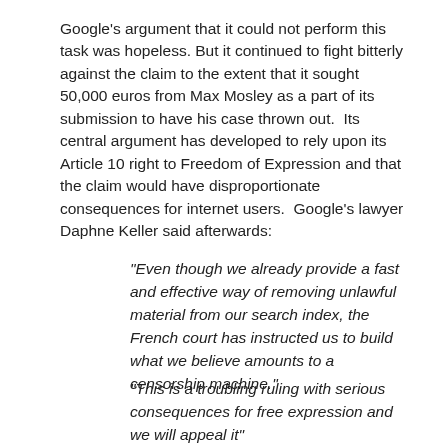Google's argument that it could not perform this task was hopeless. But it continued to fight bitterly against the claim to the extent that it sought 50,000 euros from Max Mosley as a part of its submission to have his case thrown out.  Its central argument has developed to rely upon its Article 10 right to Freedom of Expression and that the claim would have disproportionate consequences for internet users.  Google's lawyer Daphne Keller said afterwards:
“Even though we already provide a fast and effective way of removing unlawful material from our search index, the French court has instructed us to build what we believe amounts to a censorship machine.”
“This is a troubling ruling with serious consequences for free expression and we will appeal it”